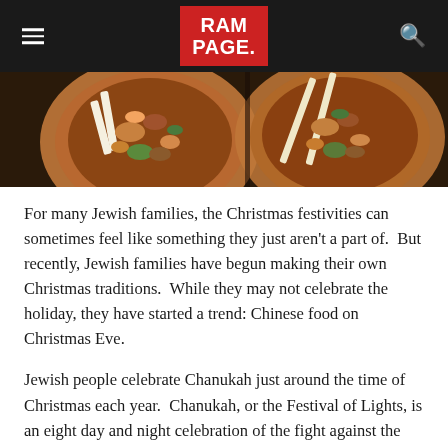RAMPAGE.
[Figure (photo): Overhead view of Asian food bowls with chopsticks, featuring stir-fried dishes with vegetables and meat.]
For many Jewish families, the Christmas festivities can sometimes feel like something they just aren't a part of.  But recently, Jewish families have begun making their own Christmas traditions.  While they may not celebrate the holiday, they have started a trend: Chinese food on Christmas Eve.
Jewish people celebrate Chanukah just around the time of Christmas each year.  Chanukah, or the Festival of Lights, is an eight day and night celebration of the fight against the Syrian oppressors in Jerusalem in the